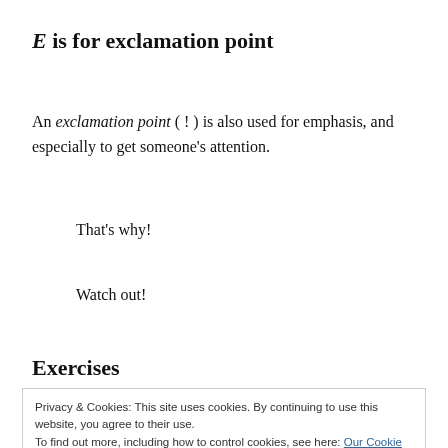E is for exclamation point
An exclamation point ( ! ) is also used for emphasis, and especially to get someone's attention.
That's why!
Watch out!
Exercises
Privacy & Cookies: This site uses cookies. By continuing to use this website, you agree to their use.
To find out more, including how to control cookies, see here: Our Cookie Policy